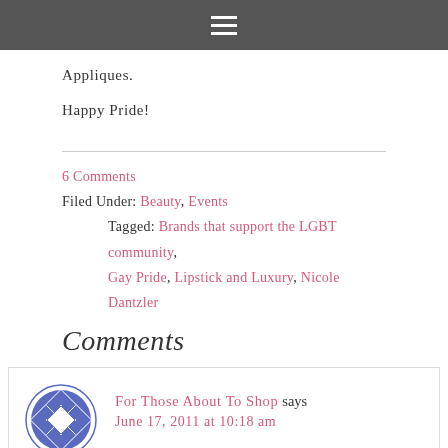☰
Appliques.
Happy Pride!
6 Comments
Filed Under: Beauty, Events
Tagged: Brands that support the LGBT community, Gay Pride, Lipstick and Luxury, Nicole Dantzler
Comments
For Those About To Shop says
June 17, 2011 at 10:18 am